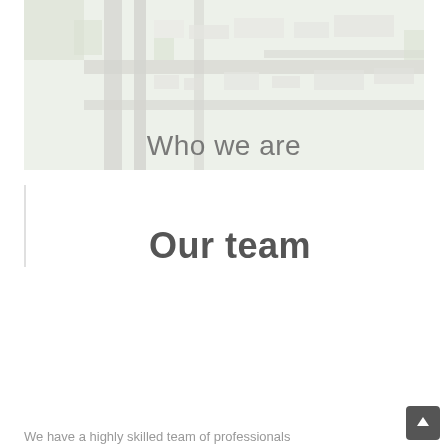[Figure (photo): Aerial view of an industrial or commercial area with roads, buildings, and green spaces, shown in a faded/washed-out style. The text 'Who we are' is overlaid on the lower portion of the image.]
Who we are
Our team
We have a highly skilled team of professionals